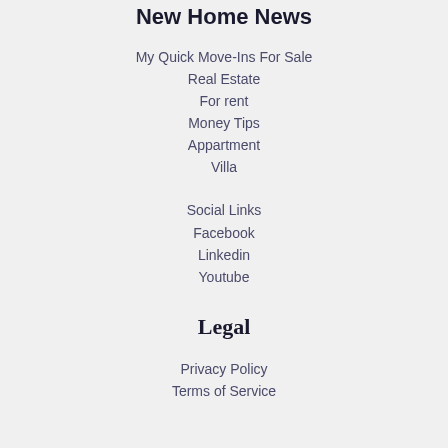New Home News
My Quick Move-Ins For Sale
Real Estate
For rent
Money Tips
Appartment
Villa
Social Links
Facebook
Linkedin
Youtube
Legal
Privacy Policy
Terms of Service